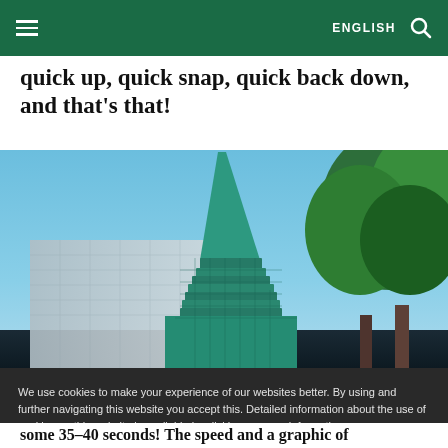ENGLISH
quick up, quick snap, quick back down, and that's that!
[Figure (photo): Low-angle view of Taipei 101 skyscraper against a clear blue sky, with green trees visible on the right side.]
We use cookies to make your experience of our websites better. By using and further navigating this website you accept this. Detailed information about the use of cookies on this website is available by clicking on more information.
ACCEPT AND CLOSE
some 35–40 seconds! The speed and a graphic of